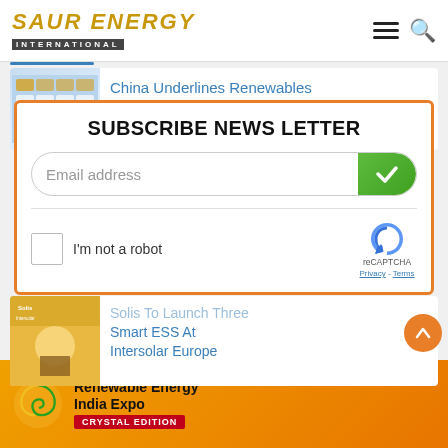SAUR ENERGY INTERNATIONAL
[Figure (screenshot): Thumbnail image of China Renewables article with grid of logos]
China Underlines Renewables
[Figure (infographic): Subscribe Newsletter popup with email input field, green checkmark submit button, reCAPTCHA widget]
SUBSCRIBE NEWS LETTER
Email address
I'm not a robot
reCAPTCHA
Privacy - Terms
[Figure (screenshot): Thumbnail image of Solis ESS article with solar panels]
Solis To Launch Three Smart ESS At Intersolar Europe
[Figure (infographic): Orange advertisement banner for Renewable Energy India Expo Crystal Edition by Informa Markets with spiral logo]
Renewable Energy India Expo
CRYSTAL EDITION